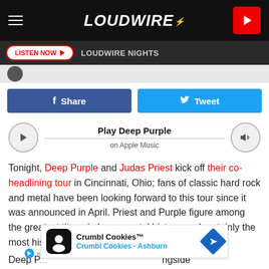LOUDWIRE
LISTEN NOW  LOUDWIRE NIGHTS
[Figure (screenshot): Facebook Share and Twitter Tweet buttons]
[Figure (screenshot): Apple Music player widget: Play Deep Purple on Apple Music]
Tonight, Deep Purple and Judas Priest kick off their co-headlining tour in Cincinnati, Ohio; fans of classic hard rock and metal have been looking forward to this tour since it was announced in April. Priest and Purple figure among the greatest titans in heavy metal history, and certainly the most historic entities currently still in operation.
[Figure (screenshot): Crumbl Cookies advertisement banner - Crumbl Cookies Ashburn]
Deep P... ngside Black...